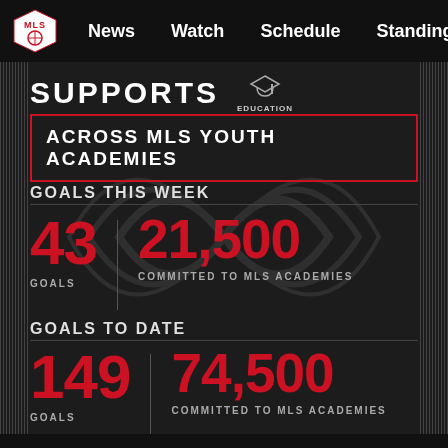MLS | News  Watch  Schedule  Standings  ...
SUPPORTS EDUCATION
ACROSS MLS YOUTH ACADEMIES
GOALS THIS WEEK
43 GOALS
21,500 COMMITTED TO MLS ACADEMIES
GOALS TO DATE
149 GOALS
74,500 COMMITTED TO MLS ACADEMIES